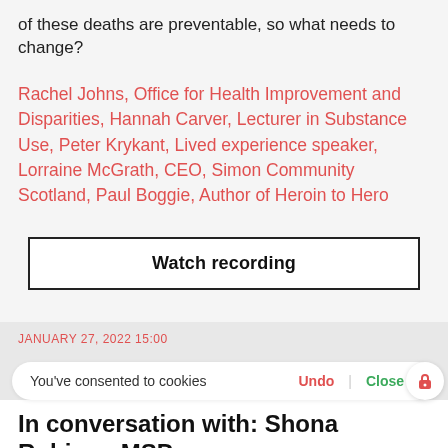of these deaths are preventable, so what needs to change?
Rachel Johns, Office for Health Improvement and Disparities, Hannah Carver, Lecturer in Substance Use, Peter Krykant, Lived experience speaker, Lorraine McGrath, CEO, Simon Community Scotland, Paul Boggie, Author of Heroin to Hero
Watch recording
JANUARY 27, 2022 15:00
You've consented to cookies
Undo
Close
In conversation with: Shona Robison MSP